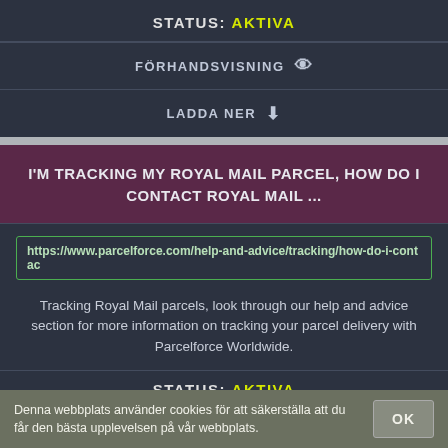STATUS: AKTIVA
FÖRHANDSVISNING 👁
LADDA NER ⬇
I'M TRACKING MY ROYAL MAIL PARCEL, HOW DO I CONTACT ROYAL MAIL ...
https://www.parcelforce.com/help-and-advice/tracking/how-do-i-contac
Tracking Royal Mail parcels, look through our help and advice section for more information on tracking your parcel delivery with Parcelforce Worldwide.
STATUS: AKTIVA
Denna webbplats använder cookies för att säkerställa att du får den bästa upplevelsen på vår webbplats.